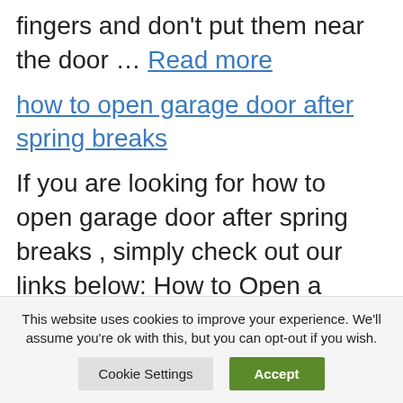fingers and don't put them near the door … Read more
how to open garage door after spring breaks
If you are looking for how to open garage door after spring breaks , simply check out our links below: How to Open a Garage Door with a Broken Spring | Safety Tips … If you have a broken spring, do not attempt to use
This website uses cookies to improve your experience. We'll assume you're ok with this, but you can opt-out if you wish.
Cookie Settings | Accept